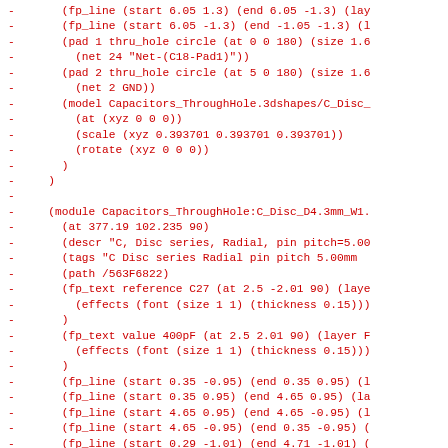-       (fp_line (start 6.05 1.3) (end 6.05 -1.3) (lay
-       (fp_line (start 6.05 -1.3) (end -1.05 -1.3) (l
-       (pad 1 thru_hole circle (at 0 0 180) (size 1.6
-         (net 24 "Net-(C18-Pad1)"))
-       (pad 2 thru_hole circle (at 5 0 180) (size 1.6
-         (net 2 GND))
-       (model Capacitors_ThroughHole.3dshapes/C_Disc_
-         (at (xyz 0 0 0))
-         (scale (xyz 0.393701 0.393701 0.393701))
-         (rotate (xyz 0 0 0))
-       )
-     )
-
-     (module Capacitors_ThroughHole:C_Disc_D4.3mm_W1.
-       (at 377.19 102.235 90)
-       (descr "C, Disc series, Radial, pin pitch=5.00
-       (tags "C Disc series Radial pin pitch 5.00mm
-       (path /563F6822)
-       (fp_text reference C27 (at 2.5 -2.01 90) (laye
-         (effects (font (size 1 1) (thickness 0.15)))
-       )
-       (fp_text value 400pF (at 2.5 2.01 90) (layer F
-         (effects (font (size 1 1) (thickness 0.15)))
-       )
-       (fp_line (start 0.35 -0.95) (end 0.35 0.95) (l
-       (fp_line (start 0.35 0.95) (end 4.65 0.95) (la
-       (fp_line (start 4.65 0.95) (end 4.65 -0.95) (l
-       (fp_line (start 4.65 -0.95) (end 0.35 -0.95) (
-       (fp_line (start 0.29 -1.01) (end 4.71 -1.01) (
-       (fp_line (start 0.29 1.01) (end 4.71 1.01) (la